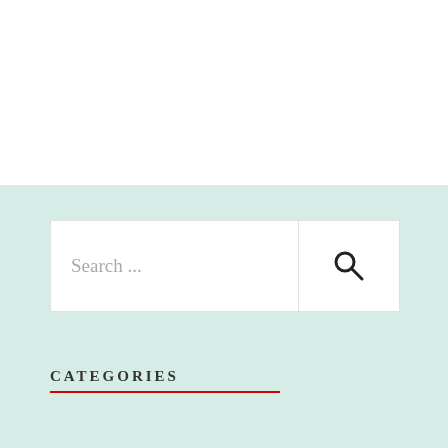[Figure (screenshot): White header area at the top of the page]
Search ...
CATEGORIES
Africa
Camino Primativo